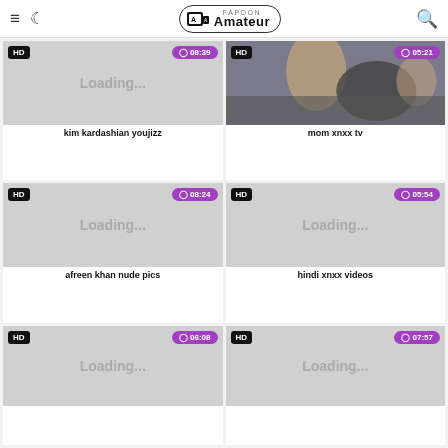Amateur Fapoon
[Figure (screenshot): Video thumbnail loading placeholder with HD badge and 08:39 duration]
kim kardashian youjizz
[Figure (photo): Video thumbnail showing two people, HD badge and 05:21 duration]
mom xnxx tv
[Figure (screenshot): Video thumbnail loading placeholder with HD badge and 08:24 duration]
afreen khan nude pics
[Figure (screenshot): Video thumbnail loading placeholder with HD badge and 05:54 duration]
hindi xnxx videos
[Figure (screenshot): Video thumbnail loading placeholder with HD badge and 06:08 duration]
[Figure (screenshot): Video thumbnail loading placeholder with HD badge and 07:57 duration]